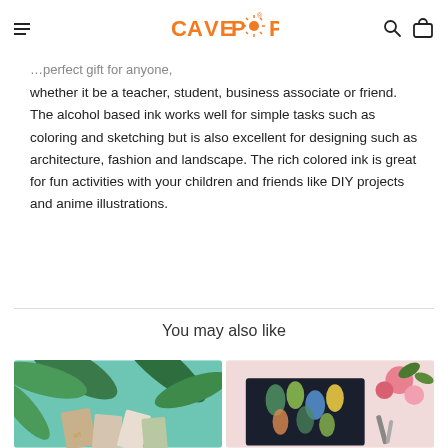CAVE POP (logo)
whether it be a teacher, student, business associate or friend. The alcohol based ink works well for simple tasks such as coloring and sketching but is also excellent for designing such as architecture, fashion and landscape. The rich colored ink is great for fun activities with your children and friends like DIY projects and anime illustrations.
You may also like
[Figure (photo): Product photo showing colorful sketchbooks and palm leaves on a teal background]
[Figure (photo): Product photo showing a dark notebook with leaf patterns, pink background with flowers]